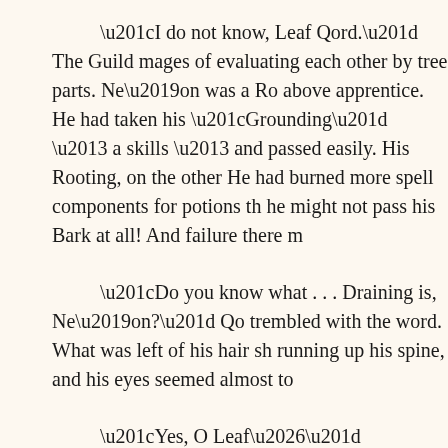“I do not know, Leaf Qord.” The Guild mages of evaluating each other by tree parts. Ne’on was a Ro above apprentice. He had taken his “Grounding” – a skills – and passed easily. His Rooting, on the other He had burned more spell components for potions th he might not pass his Bark at all! And failure there m
“Do you know what . . . Draining is, Ne’on?” Qo trembled with the word. What was left of his hair sh running up his spine, and his eyes seemed almost to
“Yes, O Leaf…” Ne’on tiredly replied. Qord had again since he fumbled his first potion. His familiari lessened his fear of it a great deal.
“No, young Root…” Qord’s voice was cold and l